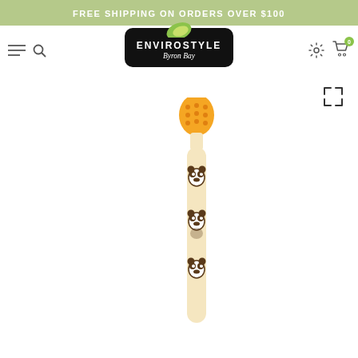FREE SHIPPING ON ORDERS OVER $100
[Figure (logo): Envirostyle Byron Bay logo - black rounded rectangle with white text and green leaf graphic]
[Figure (photo): A bamboo toothbrush with orange bristles and panda character engravings on the handle, shown on white background]